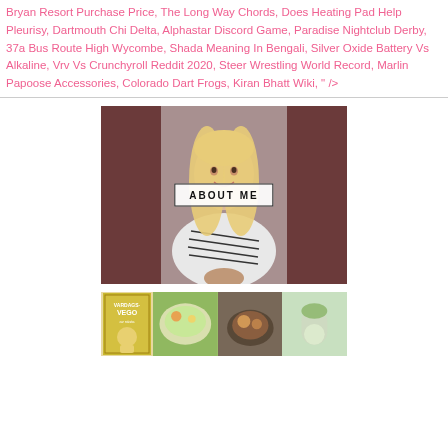Bryan Resort Purchase Price, The Long Way Chords, Does Heating Pad Help Pleurisy, Dartmouth Chi Delta, Alphastar Discord Game, Paradise Nightclub Derby, 37a Bus Route High Wycombe, Shada Meaning In Bengali, Silver Oxide Battery Vs Alkaline, Vrv Vs Crunchyroll Reddit 2020, Steer Wrestling World Record, Marlin Papoose Accessories, Colorado Dart Frogs, Kiran Bhatt Wiki, " />
[Figure (photo): Photo of a blonde woman smiling, wearing a striped top, with an 'ABOUT ME' label overlay in the center of the image.]
[Figure (photo): A bottom strip showing a book cover labeled 'VARDAGS VEGO' alongside food photography images including salads, soup, and green drinks.]